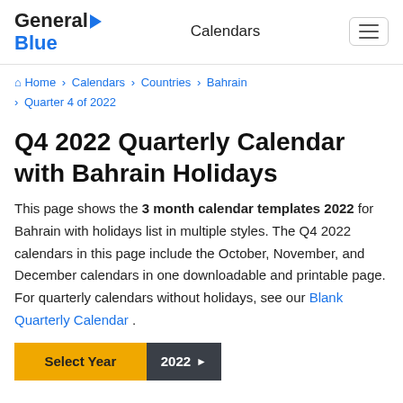General Blue | Calendars
Home > Calendars > Countries > Bahrain > Quarter 4 of 2022
Q4 2022 Quarterly Calendar with Bahrain Holidays
This page shows the 3 month calendar templates 2022 for Bahrain with holidays list in multiple styles. The Q4 2022 calendars in this page include the October, November, and December calendars in one downloadable and printable page. For quarterly calendars without holidays, see our Blank Quarterly Calendar .
Select Year 2022 ▶